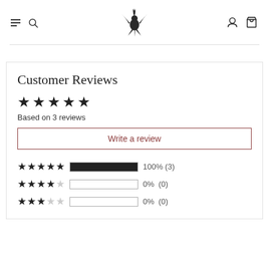[Figure (logo): Phoenix bird logo in dark gray]
Customer Reviews
★★★★★ Based on 3 reviews
Write a review
| Stars | Bar | Percentage | Count |
| --- | --- | --- | --- |
| ★★★★★ | filled | 100% | (3) |
| ★★★★☆ | empty | 0% | (0) |
| ★★★☆☆ | empty | 0% | (0) |